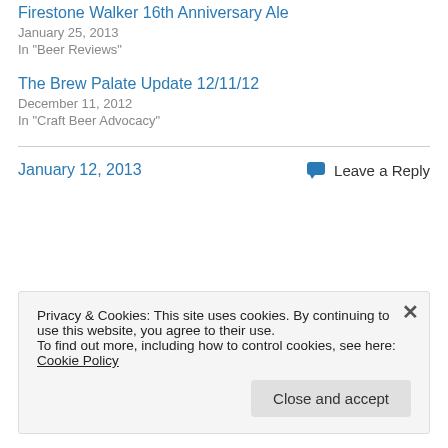Firestone Walker 16th Anniversary Ale
January 25, 2013
In "Beer Reviews"
The Brew Palate Update 12/11/12
December 11, 2012
In "Craft Beer Advocacy"
January 12, 2013
Leave a Reply
Privacy & Cookies: This site uses cookies. By continuing to use this website, you agree to their use.
To find out more, including how to control cookies, see here: Cookie Policy